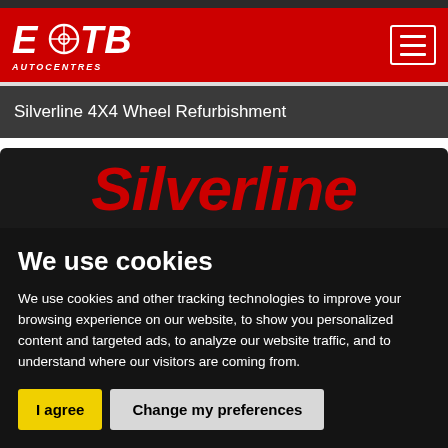[Figure (logo): ETB Autocentres logo on red header background with hamburger menu button]
Silverline 4X4 Wheel Refurbishment
[Figure (photo): Silverline brand logo text in red on dark background, partially visible]
We use cookies
We use cookies and other tracking technologies to improve your browsing experience on our website, to show you personalized content and targeted ads, to analyze our website traffic, and to understand where our visitors are coming from.
I agree | Change my preferences